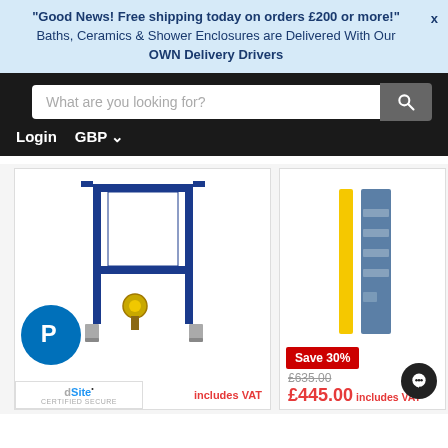"Good News! Free shipping today on orders £200 or more!" X Baths, Ceramics & Shower Enclosures are Delivered With Our OWN Delivery Drivers
[Figure (screenshot): Website navigation bar with search box showing placeholder text 'What are you looking for?' and a dark search button with magnifying glass icon. Below are Login and GBP currency selector links.]
[Figure (photo): Blue metal toilet frame/cistern installation support frame with yellow fittings and grey feet on white background.]
includes VAT
[Figure (photo): Yellow vertical bar and blue rectangular panel product shown side by side on white background.]
Save 30%
£635.00
£445.00 includes VAT